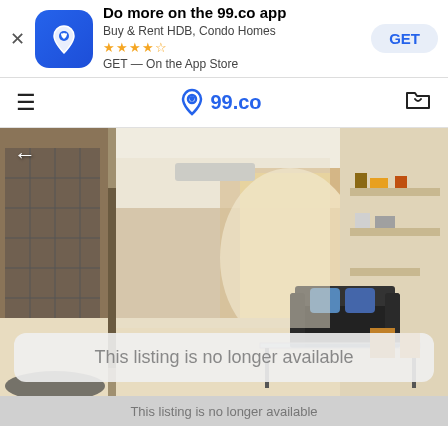Do more on the 99.co app — Buy & Rent HDB, Condo Homes — GET — On the App Store
99.co navigation bar
[Figure (photo): Interior room photo of an HDB flat showing a living area with a sofa, glass coffee table, shelving units, and a sliding glass door/window in the background. Wide-angle shot with light flooding in from the window.]
This listing is no longer available
This listing is no longer available